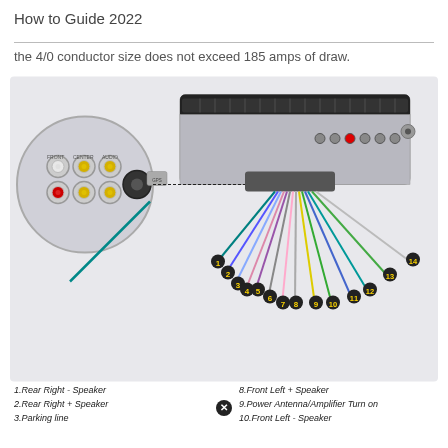How to Guide 2022
the 4/0 conductor size does not exceed 185 amps of draw.
[Figure (engineering-diagram): Car head unit wiring diagram showing the back of a double-DIN car stereo with colored wires fanning out, numbered 1-14, along with a zoomed inset showing RCA audio connectors on the left side of the unit.]
1.Rear Right - Speaker
2.Rear Right + Speaker
3.Parking line
8.Front Left + Speaker
9.Power Antenna/Amplifier Turn on
10.Front Left - Speaker